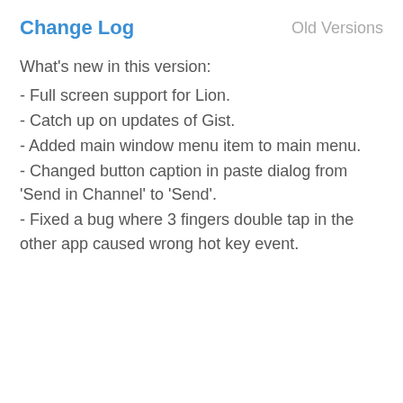Change Log    Old Versions
What's new in this version:
- Full screen support for Lion.
- Catch up on updates of Gist.
- Added main window menu item to main menu.
- Changed button caption in paste dialog from 'Send in Channel' to 'Send'.
- Fixed a bug where 3 fingers double tap in the other app caused wrong hot key event.